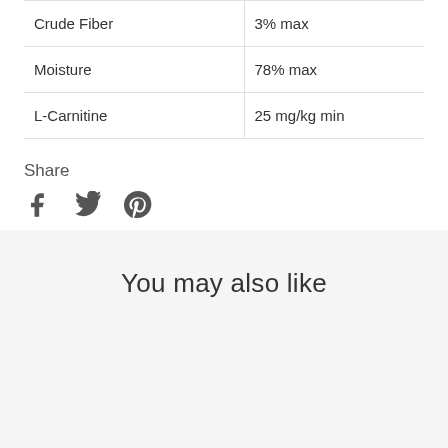|  |  |
| --- | --- |
| Crude Fiber | 3% max |
| Moisture | 78% max |
| L-Carnitine | 25 mg/kg min |
Share
[Figure (illustration): Social share icons: Facebook (f), Twitter (bird), Pinterest (P)]
You may also like